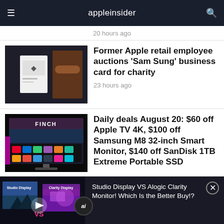appleinsider
20 hours ago
[Figure (photo): Apple business card with Apple logo, Sam Sung name, on dark background with leather chair]
Former Apple retail employee auctions 'Sam Sung' business card for charity
23 hours ago
[Figure (photo): Samsung smart monitor showing FINCH movie poster and smart TV interface with app icons]
Daily deals August 20: $60 off Apple TV 4K, $100 off Samsung M8 32-inch Smart Monitor, $140 off SanDisk 1TB Extreme Portable SSD
[Figure (screenshot): Ad banner: Studio Display vs Alogic Clarity Monitor comparison video thumbnail showing $1599 vs $799 with play button]
Studio Display VS Alogic Clarity Monitor! Which Is the Better Buy!?